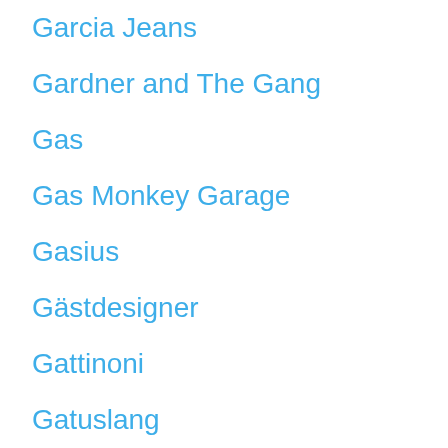Garcia Jeans
Gardner and The Gang
Gas
Gas Monkey Garage
Gasius
Gästdesigner
Gattinoni
Gatuslang
Gaudi
Gd Import
Geggamoja
Geographical Norway